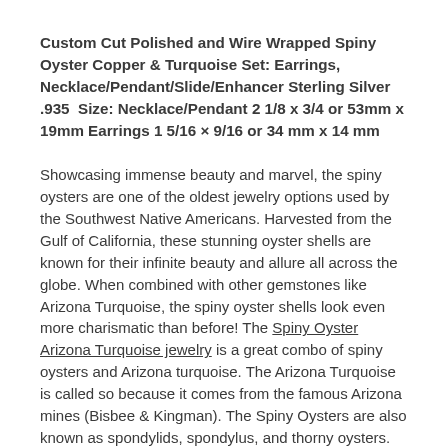Custom Cut Polished and Wire Wrapped Spiny Oyster Copper & Turquoise Set: Earrings, Necklace/Pendant/Slide/Enhancer Sterling Silver .935  Size: Necklace/Pendant 2 1/8 x 3/4 or 53mm x 19mm Earrings 1 5/16 × 9/16 or 34 mm x 14 mm
Showcasing immense beauty and marvel, the spiny oysters are one of the oldest jewelry options used by the Southwest Native Americans. Harvested from the Gulf of California, these stunning oyster shells are known for their infinite beauty and allure all across the globe. When combined with other gemstones like Arizona Turquoise, the spiny oyster shells look even more charismatic than before! The Spiny Oyster Arizona Turquoise jewelry is a great combo of spiny oysters and Arizona turquoise. The Arizona Turquoise is called so because it comes from the famous Arizona mines (Bisbee & Kingman). The Spiny Oysters are also known as spondylids, spondylus, and thorny oysters.